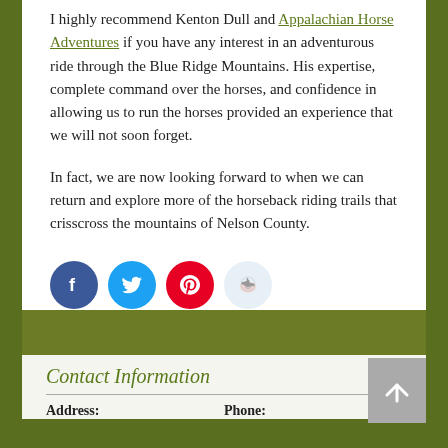I highly recommend Kenton Dull and Appalachian Horse Adventures if you have any interest in an adventurous ride through the Blue Ridge Mountains. His expertise, complete command over the horses, and confidence in allowing us to run the horses provided an experience that we will not soon forget.

In fact, we are now looking forward to when we can return and explore more of the horseback riding trails that crisscross the mountains of Nelson County.
[Figure (other): Social sharing icons: Facebook (blue circle), Twitter (blue circle), Pinterest (red circle), Reddit (light blue circle)]
Contact Information
Address:   Phone: